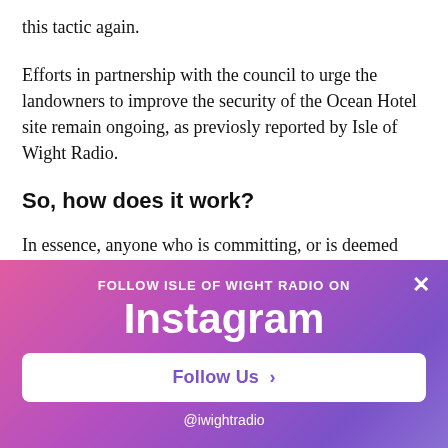this tactic again.
Efforts in partnership with the council to urge the landowners to improve the security of the Ocean Hotel site remain ongoing, as previosly reported by Isle of Wight Radio.
So, how does it work?
In essence, anyone who is committing, or is deemed likely to commit, ASB in the specific area will be ordered to disperse. Those who don't comply, will be liable for arrest, and children will be taken home by police.
The South Wight Neighbourhood policing team and in the early hours of this morning, enforcing the Dispersal Order, also stopped a number of suspects suspected of carrying illegal items, including drugs and weapons.
[Figure (infographic): Instagram follow banner overlay: purple-pink gradient background with 'FOLLOW ISLE OF WIGHT RADIO ON Instagram' text, a Follow Us button, and @iwightradio handle. Close X button in top right.]